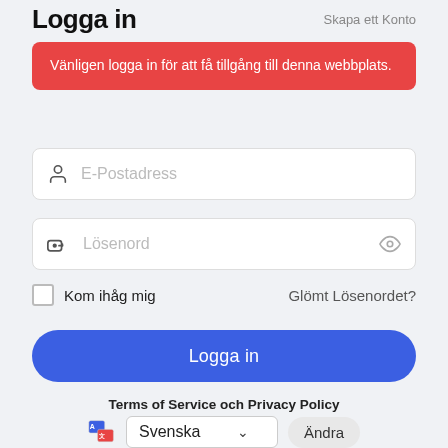Logga in
Skapa ett Konto
Vänligen logga in för att få tillgång till denna webbplats.
E-Postadress
Lösenord
Kom ihåg mig
Glömt Lösenordet?
Logga in
Terms of Service och Privacy Policy
Svenska
Ändra